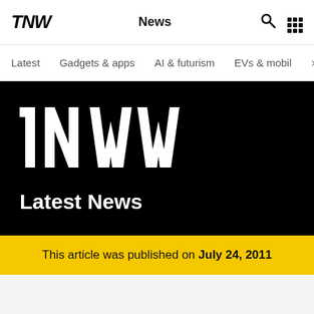TNW  News
Latest
Gadgets & apps
AI & futurism
EVs & mobil
[Figure (logo): Large TNW logo in white on black background, with 'Latest News' subtitle below]
This article was published on July 24, 2011